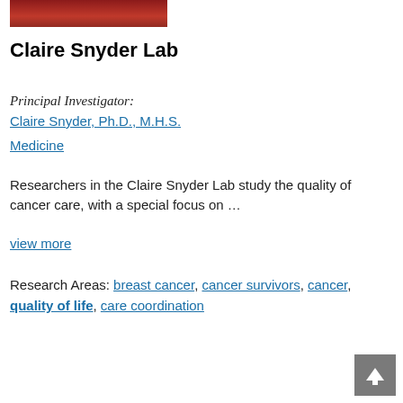[Figure (photo): Partial photo of a person wearing a red jacket, cropped at the top of the page]
Claire Snyder Lab
Principal Investigator:
Claire Snyder, Ph.D., M.H.S.
Medicine
Researchers in the Claire Snyder Lab study the quality of cancer care, with a special focus on ...
view more
Research Areas: breast cancer, cancer survivors, cancer, quality of life, care coordination